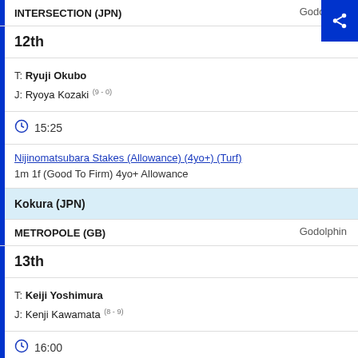INTERSECTION (JPN) — Godolphin
12th
T: Ryuji Okubo
J: Ryoya Kozaki (9 - 0)
15:25
Nijinomatsubara Stakes (Allowance) (4yo+) (Turf)
1m 1f (Good To Firm) 4yo+ Allowance
Kokura (JPN)
METROPOLE (GB) — Godolphin
13th
T: Keiji Yoshimura
J: Kenji Kawamata (8 - 9)
16:00